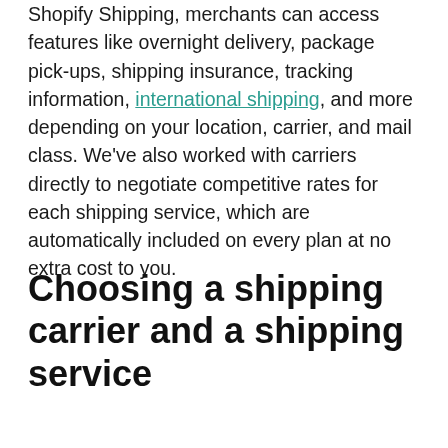Shopify Shipping, merchants can access features like overnight delivery, package pick-ups, shipping insurance, tracking information, international shipping, and more depending on your location, carrier, and mail class. We've also worked with carriers directly to negotiate competitive rates for each shipping service, which are automatically included on every plan at no extra cost to you.
Choosing a shipping carrier and a shipping service